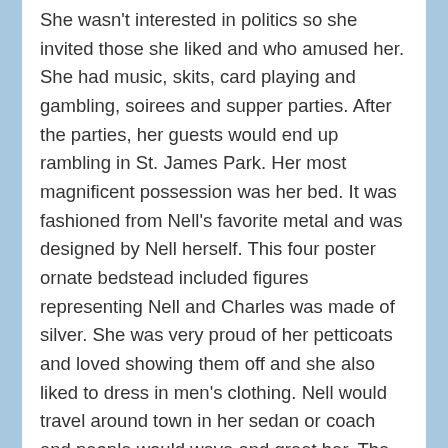She wasn't interested in politics so she invited those she liked and who amused her. She had music, skits, card playing and gambling, soirees and supper parties. After the parties, her guests would end up rambling in St. James Park. Her most magnificent possession was her bed. It was fashioned from Nell's favorite metal and was designed by Nell herself. This four poster ornate bedstead included figures representing Nell and Charles was made of silver. She was very proud of her petticoats and loved showing them off and she also liked to dress in men's clothing. Nell would travel around town in her sedan or coach and people would wave and greet her. The people loved her and would often leave flowers at her door. She loved to attend the theater and keep up with her old friends. Her sons never lacked for anything. She was sometimes invited to attend state dinners.